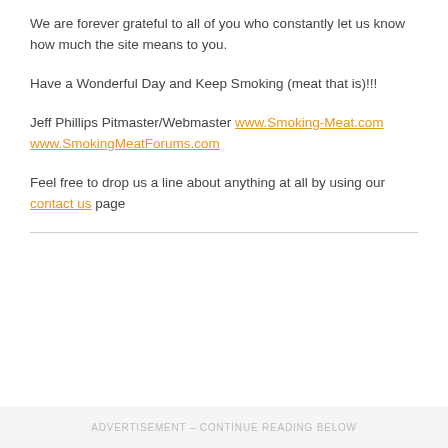We are forever grateful to all of you who constantly let us know how much the site means to you.
Have a Wonderful Day and Keep Smoking (meat that is)!!!
Jeff Phillips Pitmaster/Webmaster www.Smoking-Meat.com www.SmokingMeatForums.com
Feel free to drop us a line about anything at all by using our contact us page
ADVERTISEMENT – CONTINUE READING BELOW